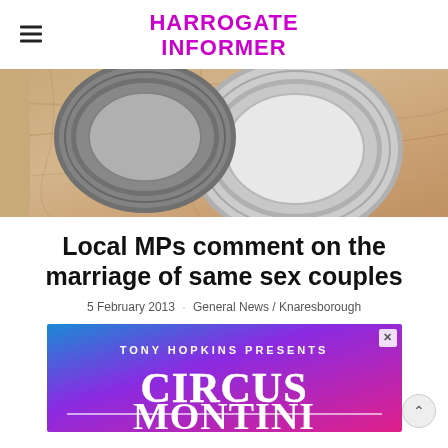HARROGATE INFORMER
[Figure (photo): Close-up photo of two metallic wedding rings resting on a marble surface]
Local MPs comment on the marriage of same sex couples
5 February 2013 · General News / Knaresborough
[Figure (other): Advertisement banner: TONY HOPKINS PRESENTS CIRCUS MONTINI on a colorful gradient background]